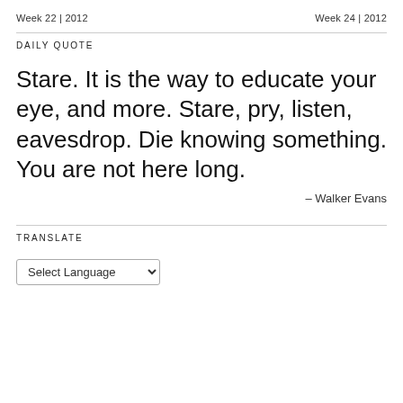Week 22 | 2012   Week 24 | 2012
DAILY QUOTE
Stare. It is the way to educate your eye, and more. Stare, pry, listen, eavesdrop. Die knowing something. You are not here long.
– Walker Evans
TRANSLATE